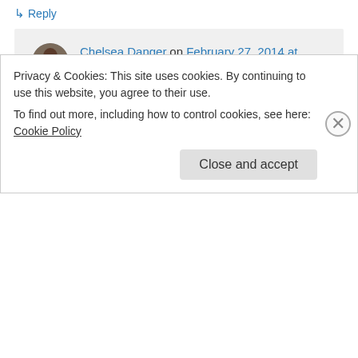↳ Reply
Chelsea Danger on February 27, 2014 at 11:07 am
HAAHAH!! Oh NO!
↳ Reply
Follow Blog via Email
Privacy & Cookies: This site uses cookies. By continuing to use this website, you agree to their use.
To find out more, including how to control cookies, see here: Cookie Policy